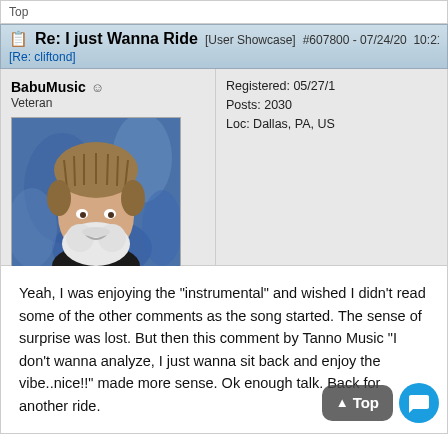Top
Re: I just Wanna Ride  [User Showcase]  #607800 - 07/24/20  10:21 AM  [Re: cliftond]
BabuMusic ☺  Veteran  Registered: 05/27/1  Posts: 2030  Loc: Dallas, PA, US
[Figure (photo): Profile photo of BabuMusic, a man with a white beard wearing a fur trapper hat, in front of a colorful blue mural background]
Yeah, I was enjoying the "instrumental" and wished I didn't read some of the other comments as the song started. The sense of surprise was lost. But then this comment by Tanno Music "I don't wanna analyze, I just wanna sit back and enjoy the vibe..nice!!" made more sense. Ok enough talk. Back for another ride.